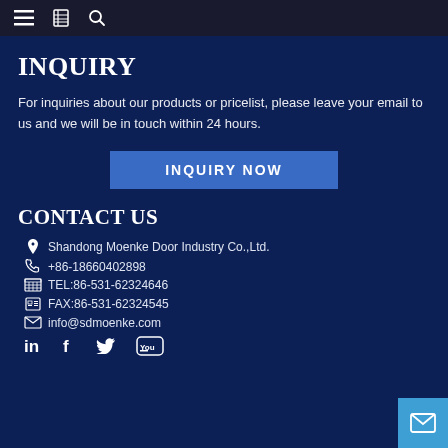navigation bar with menu, bookmark, and search icons
INQUIRY
For inquiries about our products or pricelist, please leave your email to us and we will be in touch within 24 hours.
INQUIRY NOW
CONTACT US
Shandong Moenke Door Industry Co.,Ltd.
+86-18660402898
TEL:86-531-62324646
FAX:86-531-62324545
info@sdmoenke.com
Social icons: LinkedIn, Facebook, Twitter, YouTube